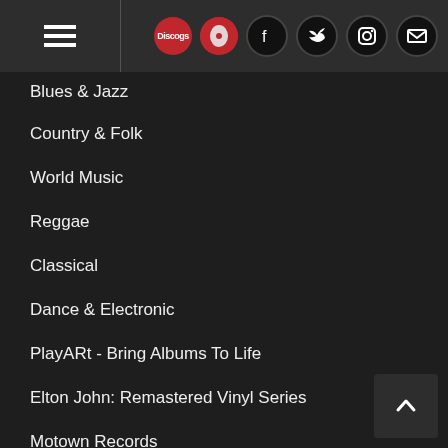Navigation header with hamburger menu and social icons (Discogs, magazine, Facebook, Twitter, Instagram, Email)
Blues & Jazz
Country & Folk
World Music
Reggae
Classical
Dance & Electronic
PlayARt - Bring Albums To Life
Elton John: Remastered Vinyl Series
Motown Records
PUNK